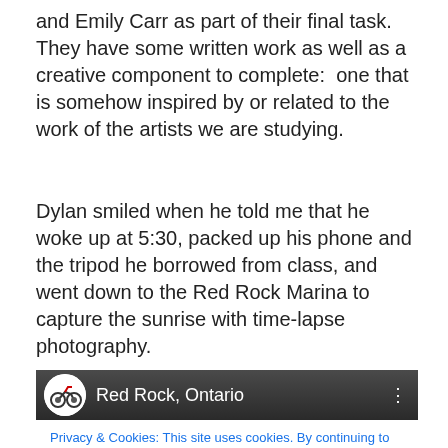and Emily Carr as part of their final task.  They have some written work as well as a creative component to complete:  one that is somehow inspired by or related to the work of the artists we are studying.
Dylan smiled when he told me that he woke up at 5:30, packed up his phone and the tripod he borrowed from class, and went down to the Red Rock Marina to capture the sunrise with time-lapse photography.
[Figure (screenshot): Screenshot of a webpage showing 'Red Rock, Ontario' header with a dark gradient background, avatar icon, and a cookie consent banner with 'Privacy & Cookies' notice, links to Cookie Policy, and a 'Close and accept' button.]